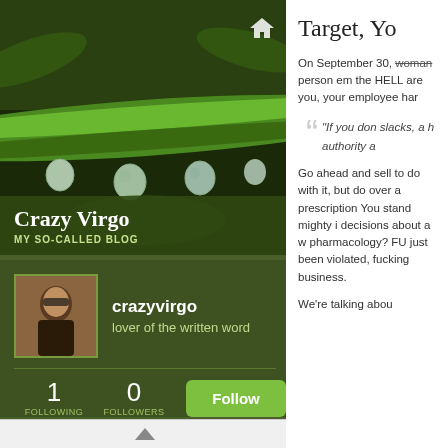[Figure (photo): Close-up photo of green plant stem with water droplets hanging from it, dark green background]
Crazy Virgo
MY SO-CALLED BLOG
[Figure (photo): Profile avatar photo of a person in costume]
crazyvirgo
lover of the written word
1 FOLLOWING
0 FOLLOWERS
Follow
Target, Yo
On September 30, woman person em the HELL are you, your employee har
"If you don slacks, a h authority a
Go ahead and sell to do with it, but do over a prescription You stand mighty i decisions about a w pharmacology? FU just been violated, fucking business. We're talking abou